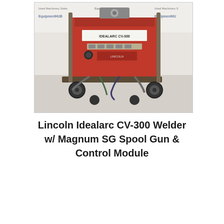[Figure (photo): Photograph of a Lincoln Idealarc CV-300 Welder with Magnum SG Spool Gun and Control Module on a wheeled cart, shown against a backdrop with 'Equipment HUB' branding and 'Used Machinery Sales' text. The machine is red and has cables and hoses attached.]
Lincoln Idealarc CV-300 Welder w/ Magnum SG Spool Gun & Control Module